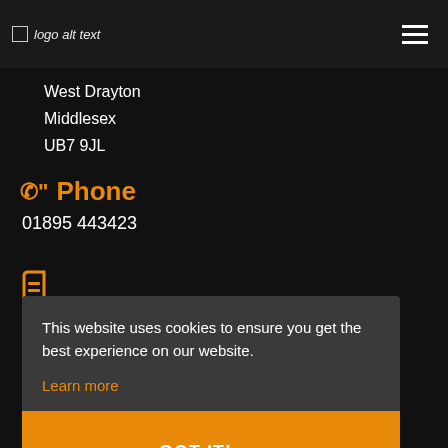logo alt text
West Drayton
Middlesex
UB7 9JL
Phone
01895 443423
This website uses cookies to ensure you get the best experience on our website.
Learn more
GOT IT!